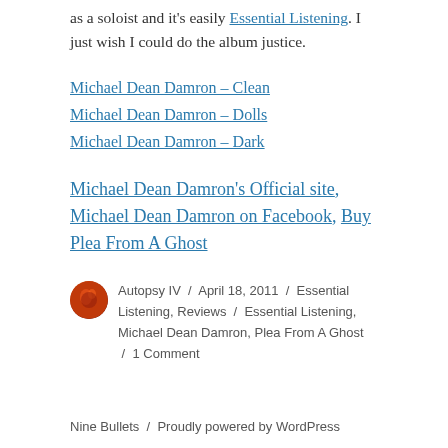as a soloist and it's easily Essential Listening. I just wish I could do the album justice.
Michael Dean Damron – Clean
Michael Dean Damron – Dolls
Michael Dean Damron – Dark
Michael Dean Damron's Official site, Michael Dean Damron on Facebook, Buy Plea From A Ghost
Autopsy IV / April 18, 2011 / Essential Listening, Reviews / Essential Listening, Michael Dean Damron, Plea From A Ghost / 1 Comment
Nine Bullets  /  Proudly powered by WordPress